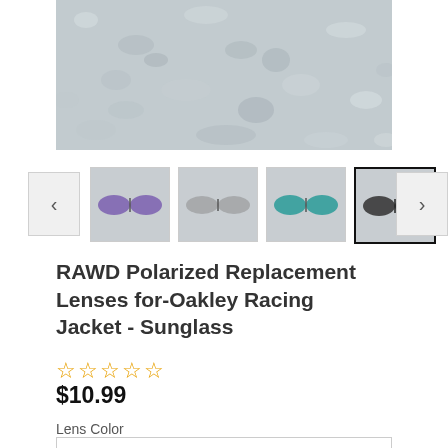[Figure (photo): Main product image showing a granite/stone textured background, cropped view of polarized lenses in dark color on gray background]
[Figure (photo): Thumbnail navigation row with left arrow, four thumbnail images of sunglass lenses in various colors (purple, black/clear, teal, black/dark), and right arrow. The last thumbnail is selected with a black border.]
RAWD Polarized Replacement Lenses for-Oakley Racing Jacket - Sunglass
☆☆☆☆☆
$10.99
Lens Color
Stealth Black